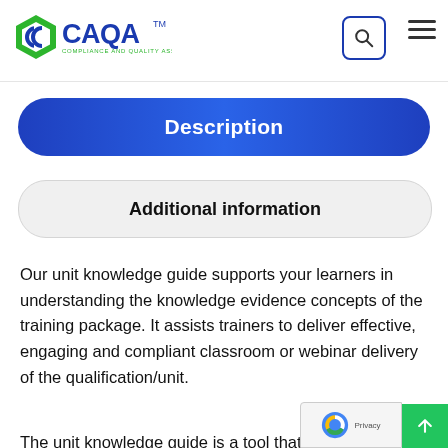[Figure (logo): CAQA logo — Compliance and Quality Assurance — green and blue hexagon C icon with CAQA text and TM mark]
Description
Additional information
Our unit knowledge guide supports your learners in understanding the knowledge evidence concepts of the training package. It assists trainers to deliver effective, engaging and compliant classroom or webinar delivery of the qualification/unit.
The unit knowledge guide is a tool that can b…